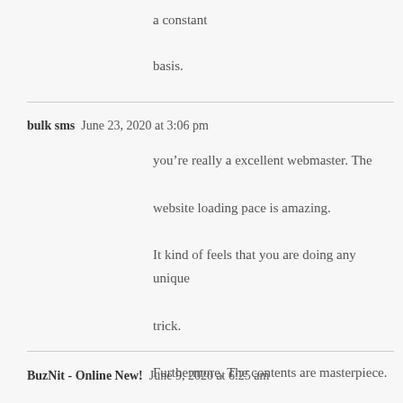a constant
basis.
bulk sms  June 23, 2020 at 3:06 pm
you’re really a excellent webmaster. The website loading pace is amazing. It kind of feels that you are doing any unique trick. Furthermore, The contents are masterpiece. you’ve done a fantastic task on this subject!
BuzNit - Online New!  June 9, 2020 at 6:25 am